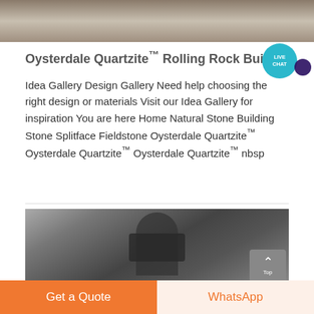[Figure (photo): Top portion of a stone or terrain image, cropped at the top of the page]
Oysterdale Quartzite™ Rolling Rock Building Stone
Idea Gallery Design Gallery Need help choosing the right design or materials Visit our Idea Gallery for inspiration You are here Home Natural Stone Building Stone Splitface Fieldstone Oysterdale Quartzite™ Oysterdale Quartzite™ Oysterdale Quartzite™ nbsp
[Figure (photo): Industrial machinery photograph showing a large dark cylindrical mill or grinding machine in a factory setting, with a back-to-top button overlay in grey]
Get a Quote
WhatsApp